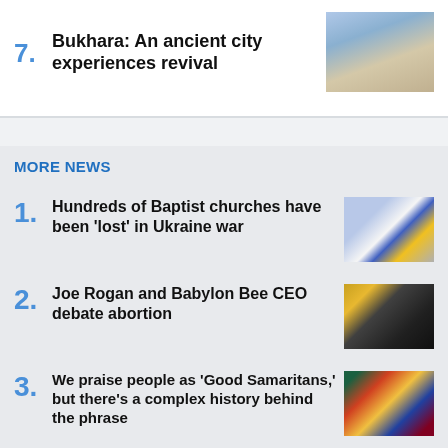7. Bukhara: An ancient city experiences revival
MORE NEWS
1. Hundreds of Baptist churches have been 'lost' in Ukraine war
2. Joe Rogan and Babylon Bee CEO debate abortion
3. We praise people as 'Good Samaritans,' but there's a complex history behind the phrase
4. Pakistani Christian couple